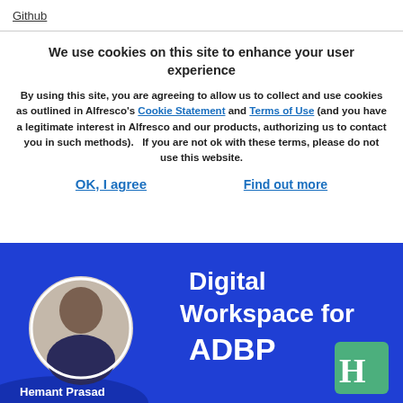Github
We use cookies on this site to enhance your user experience
By using this site, you are agreeing to allow us to collect and use cookies as outlined in Alfresco's Cookie Statement and Terms of Use (and you have a legitimate interest in Alfresco and our products, authorizing us to contact you in such methods).   If you are not ok with these terms, please do not use this website.
OK, I agree    Find out more
[Figure (photo): Promotional image with blue background showing a person named Hemant Prasad with text 'Digital Workspace for ADBP' and an H logo in the bottom right corner.]